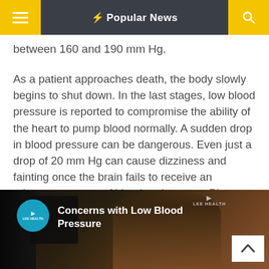Popular News
between 160 and 190 mm Hg.
As a patient approaches death, the body slowly begins to shut down. In the last stages, low blood pressure is reported to compromise the ability of the heart to pump blood normally. A sudden drop in blood pressure can be dangerous. Even just a drop of 20 mm Hg can cause dizziness and fainting once the brain fails to receive an adequate amount of blood and oxygen. Plunges caused by severe infections, allergic reactions, or uncontrolled breeding can lead to death.
[Figure (screenshot): Video thumbnail showing a woman with dark hair, Lee Health logo circle on left, title 'Concerns with Low Blood Pressure', Lee Health branding top right, white chevron/up-arrow button bottom right.]